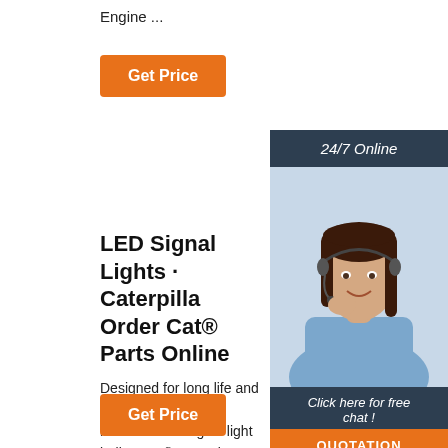Engine ...
Get Price
[Figure (photo): Customer service representative with headset, smiling, with '24/7 Online' header, 'Click here for free chat!' text, and 'QUOTATION' button overlay]
LED Signal Lights · Caterpilla Order Cat® Parts Online
Designed for long life and lower maintenance incandescent signal light bulbs, Cat® LED Sig have a demonstrated life of 25,000 hours – that's 000 times the life of an incandescent signal bulb! LED signal lights use no filaments, so they also resist high vibration, and they can be retrofitted to any 24-volt application.
Get Price